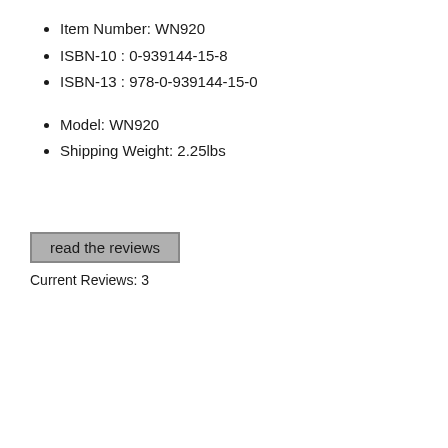Item Number: WN920
ISBN-10 : 0-939144-15-8
ISBN-13 : 978-0-939144-15-0
Model: WN920
Shipping Weight: 2.25lbs
[Figure (other): Button labeled 'read the reviews']
Current Reviews: 3